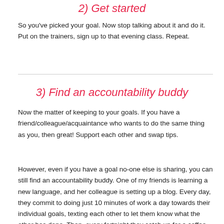2) Get started
So you've picked your goal. Now stop talking about it and do it. Put on the trainers, sign up to that evening class. Repeat.
3) Find an accountability buddy
Now the matter of keeping to your goals. If you have a friend/colleague/acquaintance who wants to do the same thing as you, then great! Support each other and swap tips.
However, even if you have a goal no-one else is sharing, you can still find an accountability buddy. One of my friends is learning a new language, and her colleague is setting up a blog. Every day, they commit to doing just 10 minutes of work a day towards their individual goals, texting each other to let them know what the other has done. Then, every fortnight they catch up for a coffee